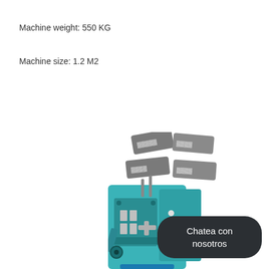Machine weight: 550 KG
Machine size: 1.2 M2
[Figure (photo): Industrial spring coiling machine in teal/turquoise color with metal components, surrounded by sample wire springs and metal clips in various shapes displayed above the machine head.]
Chatea con nosotros